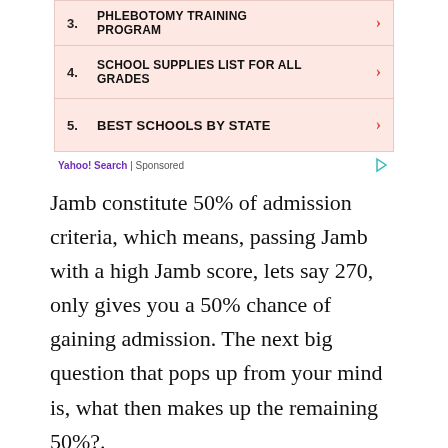3. PHLEBOTOMY TRAINING PROGRAM
4. SCHOOL SUPPLIES LIST FOR ALL GRADES
5. BEST SCHOOLS BY STATE
Yahoo! Search | Sponsored
Jamb constitute 50% of admission criteria, which means, passing Jamb with a high Jamb score, lets say 270, only gives you a 50% chance of gaining admission. The next big question that pops up from your mind is, what then makes up the remaining 50%?.
Search for
1. SCHOOL SUPPLY LISTS BY GRADE
2. BACK TO SCHOOL SUPPLY LISTS
Ad | Business Focus